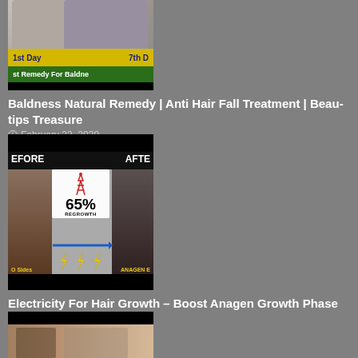[Figure (photo): Thumbnail image showing two people, before/after hair treatment with '1st Day' and '7th Day' labels, yellow bar reading 'Remedy For Baldne[ss]', green bar below]
Baldness Natural Remedy | Anti Hair Fall Treatment | Beautips Treasure
February 22, 2020
[Figure (photo): Before/after thumbnail showing scalp with '65% REGROWTH' and tower logo, yellow lightning bolts, 'O Sides' and 'ANAGEN E' labels]
Electricity For Hair Growth – Boost Anagen Growth Phase EASILY
February 22, 2020
[Figure (photo): Partial thumbnail showing people, cropped at bottom of page]